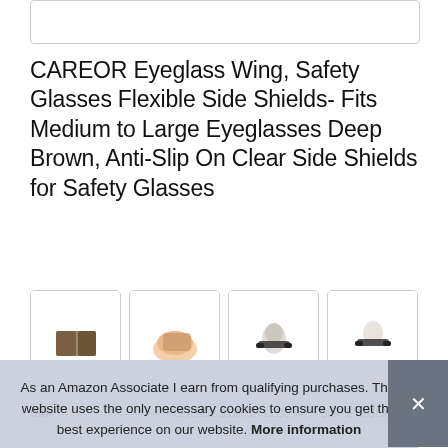[Figure (other): Top white box / search or image area with grey border]
CAREOR Eyeglass Wing, Safety Glasses Flexible Side Shields- Fits Medium to Large Eyeglasses Deep Brown, Anti-Slip On Clear Side Shields for Safety Glasses
[Figure (photo): Row of four product thumbnail images showing CAREOR eyeglass side shields, including product close-up, hand holding product, person wearing glasses with side shields, and another angle of person wearing glasses]
As an Amazon Associate I earn from qualifying purchases. This website uses the only necessary cookies to ensure you get the best experience on our website. More information
CAR...